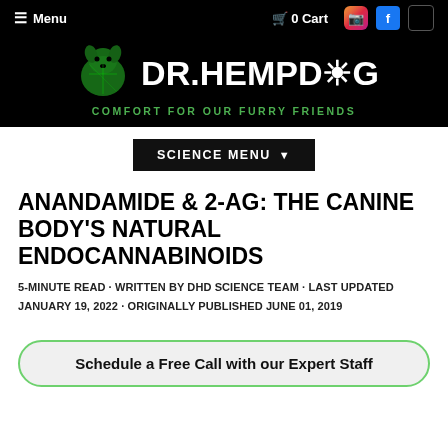☰ Menu  🛒 0 Cart
[Figure (logo): Dr. HempDog logo with green dog silhouette and text DR.HEMPDOG, tagline COMFORT FOR OUR FURRY FRIENDS]
SCIENCE MENU ▼
ANANDAMIDE & 2-AG: THE CANINE BODY'S NATURAL ENDOCANNABINOIDS
5-MINUTE READ · WRITTEN BY DHD SCIENCE TEAM · LAST UPDATED JANUARY 19, 2022 · ORIGINALLY PUBLISHED JUNE 01, 2019
Schedule a Free Call with our Expert Staff